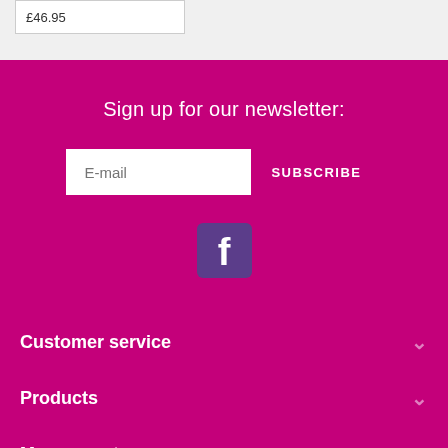£46.95
Sign up for our newsletter:
E-mail
SUBSCRIBE
[Figure (logo): Facebook logo icon in purple/dark violet square]
Customer service
Products
My account